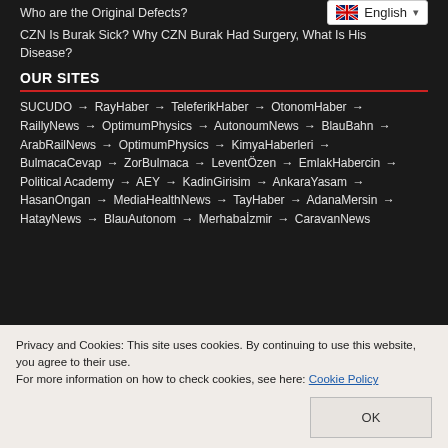Who are the Original Defects?
CZN Is Burak Sick? Why CZN Burak Had Surgery, What Is His Disease?
OUR SITES
SUCUDO → RayHaber → TeleferikHaber → OtonomHaber → RaillyNews → OptimumPhysics → AutonoumNews → BlauBahn → ArabRailNews → OptimumPhysics → KimyaHaberleri → BulmacaCevap → ZorBulmaca → LeventÖzen → EmlakHabercin → Political Academy → AEY → KadinGirisim → AnkaraYasam → HasanOngan → MediaHealthNews → TayHaber → AdanaMersin → HatayNews → BlauAutonom → Merhabaİzmir → CaravanNews
Privacy and Cookies: This site uses cookies. By continuing to use this website, you agree to their use.
For more information on how to check cookies, see here: Cookie Policy